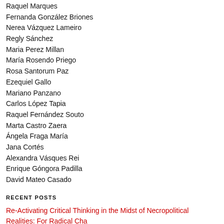Raquel Marques
Fernanda González Briones
Nerea Vázquez Lameiro
Regly Sánchez
Maria Perez Millan
María Rosendo Priego
Rosa Santorum Paz
Ezequiel Gallo
Mariano Panzano
Carlos López Tapia
Raquel Fernández Souto
Marta Castro Zaera
Ángela Fraga María
Jana Cortés
Alexandra Vásques Rei
Enrique Góngora Padilla
David Mateo Casado
RECENT POSTS
Re-Activating Critical Thinking in the Midst of Necropolitical Realities: For Radical Cha…